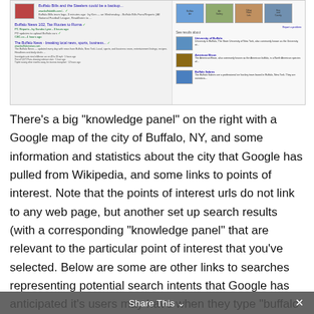[Figure (screenshot): Screenshot of a Google search results page for 'buffalo', showing news results on the left including links to Buffalo Bills and Buffalo News articles, and a knowledge panel on the right with thumbnail images of locations (Buffalo Art Gallery, Clifton Hotel, etc.) and knowledge panel entries for University of Buffalo, American Bison, and Buffalo Sabres.]
There’s a big “knowledge panel” on the right with a Google map of the city of Buffalo, NY, and some information and statistics about the city that Google has pulled from Wikipedia, and some links to points of interest. Note that the points of interest urls do not link to any web page, but another set up search results (with a corresponding “knowledge panel” that are relevant to the particular point of interest that you’ve selected. Below are some are other links to searches representing potential search intents that Google has anticipated it’s users may have when they type “buffalo” into their search bar, including “American Bison,” the “University of Buffalo,” and the “Buffalo Sabres” professional hockey
Share This